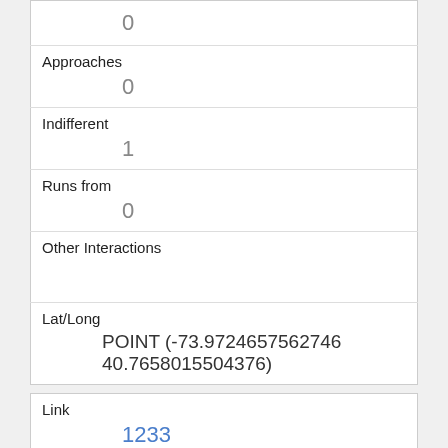|  | 0 |
| Approaches | 0 |
| Indifferent | 1 |
| Runs from | 0 |
| Other Interactions |  |
| Lat/Long | POINT (-73.9724657562746 40.7658015504376) |
| Link | 1233 |
| rowid | 1233 |
| longitude | -73.9722281263634 |
| latitude | 40.770408328801295 |
| Unique Squirrel ID |  |